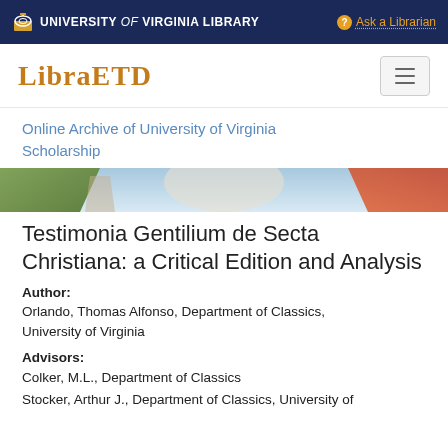University of Virginia Library  Ask a Librarian
LibraETD
Online Archive of University of Virginia Scholarship
[Figure (photo): Banner photo of University of Virginia campus with foliage and architectural elements]
Testimonia Gentilium de Secta Christiana: a Critical Edition and Analysis
Author:
Orlando, Thomas Alfonso, Department of Classics, University of Virginia
Advisors:
Colker, M.L., Department of Classics
Stocker, Arthur J., Department of Classics, University of